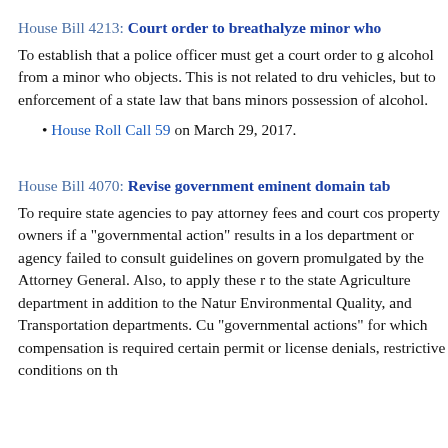House Bill 4213: Court order to breathalyze minor who
To establish that a police officer must get a court order to get alcohol from a minor who objects. This is not related to drunk driving in vehicles, but to enforcement of a state law that bans minors from possession of alcohol.
House Roll Call 59 on March 29, 2017.
House Bill 4070: Revise government eminent domain tab
To require state agencies to pay attorney fees and court costs to property owners if a "governmental action" results in a loss and the department or agency failed to consult guidelines on government action promulgated by the Attorney General. Also, to apply these rules to the state Agriculture department in addition to the Natural Environmental Quality, and Transportation departments. Currently "governmental actions" for which compensation is required include certain permit or license denials, restrictive conditions on th